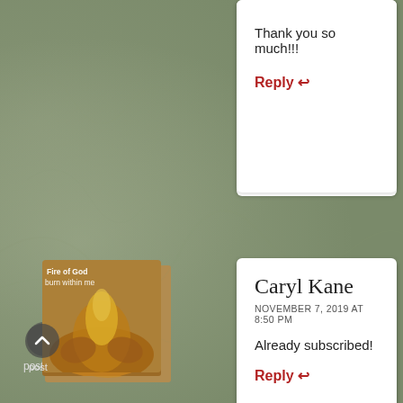Thank you so much!!!
Reply ↩
Caryl Kane
NOVEMBER 7, 2019 AT 8:50 PM
Already subscribed!
Reply ↩
Ronie
NOVEMBER 7, 2019 AT 9:44 PM